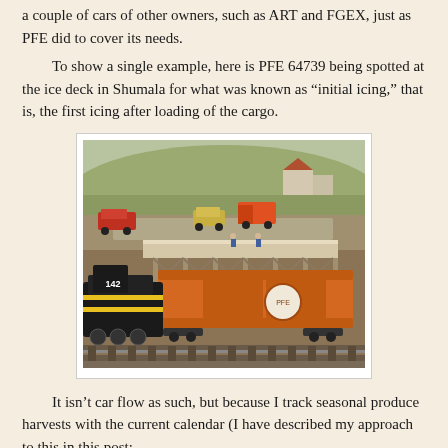a couple of cars of other owners, such as ART and FGEX, just as PFE did to cover its needs.
To show a single example, here is PFE 64739 being spotted at the ice deck in Shumala for what was known as “initial icing,” that is, the first icing after loading of the cargo.
[Figure (photo): Model railroad scene showing a black locomotive (numbered 142) pulling an orange refrigerator car spotted at an ice deck platform, with miniature figures on top of the car, vintage model trucks and cars visible on a road in the background, and a hillside with trees and buildings in the distance.]
It isn’t car flow as such, but because I track seasonal produce harvests with the current calendar (I have described my approach to this in this post: http://modelingthesp.blogspot.com/2015/09/seasonality-of-crops-and-traffic.html ), I also cycle waybills to make sure crops are seasonally appropriate, and that suitable cars (in ventilator service,